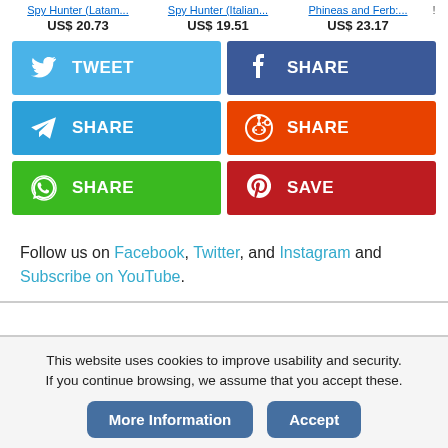Spy Hunter (Latam...   Spy Hunter (Italian...   Phineas and Ferb:...   !
US$ 20.73   US$ 19.51   US$ 23.17
[Figure (infographic): Social share buttons grid: Twitter TWEET (blue), Facebook SHARE (dark blue), Telegram SHARE (light blue), Reddit SHARE (orange), WhatsApp SHARE (green), Pinterest SAVE (red)]
Follow us on Facebook, Twitter, and Instagram and Subscribe on YouTube.
This website uses cookies to improve usability and security. If you continue browsing, we assume that you accept these.
More Information   Accept